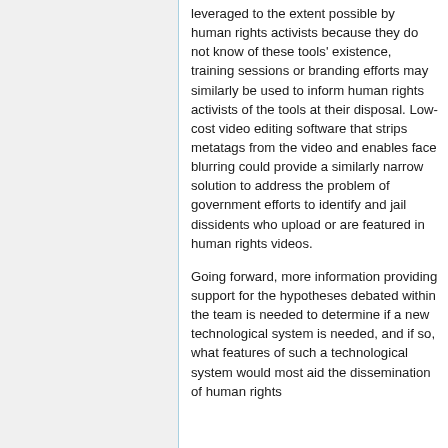leveraged to the extent possible by human rights activists because they do not know of these tools' existence, training sessions or branding efforts may similarly be used to inform human rights activists of the tools at their disposal. Low-cost video editing software that strips metatags from the video and enables face blurring could provide a similarly narrow solution to address the problem of government efforts to identify and jail dissidents who upload or are featured in human rights videos.
Going forward, more information providing support for the hypotheses debated within the team is needed to determine if a new technological system is needed, and if so, what features of such a technological system would most aid the dissemination of human rights